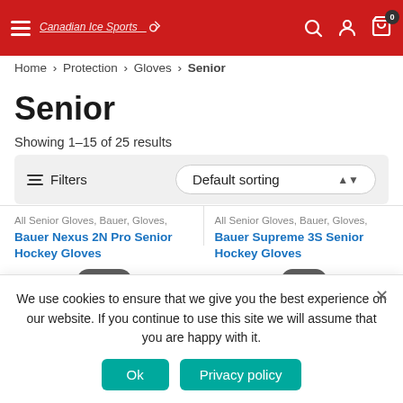Navigation header with hamburger menu, logo, search, account, and cart icons
Home > Protection > Gloves > Senior
Senior
Showing 1–15 of 25 results
Filters   Default sorting
All Senior Gloves, Bauer, Gloves,
Bauer Nexus 2N Pro Senior Hockey Gloves
All Senior Gloves, Bauer, Gloves,
Bauer Supreme 3S Senior Hockey Gloves
We use cookies to ensure that we give you the best experience on our website. If you continue to use this site we will assume that you are happy with it.
Ok   Privacy policy